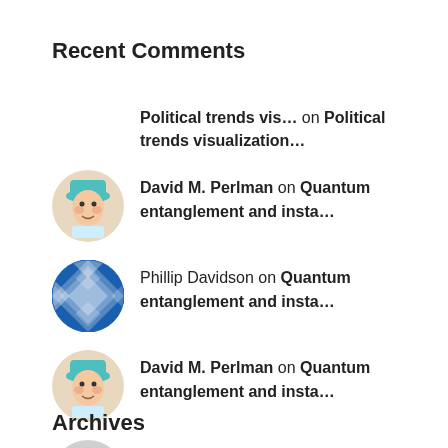Recent Comments
Political trends vis… on Political trends visualization…
David M. Perlman on Quantum entanglement and insta…
Phillip Davidson on Quantum entanglement and insta…
David M. Perlman on Quantum entanglement and insta…
Rob Watson on Quantum entanglement and insta…
Archives